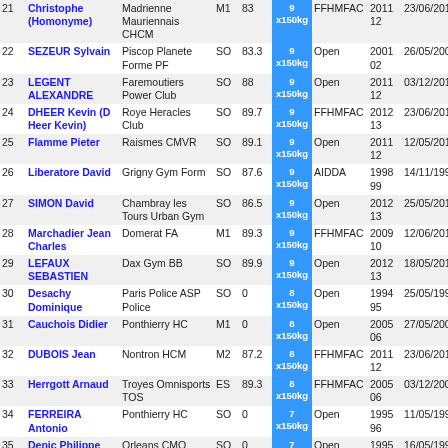| # | Name | Club | Cat | BW | kg | Fed | Year | Date |
| --- | --- | --- | --- | --- | --- | --- | --- | --- |
| 21 | Christophe (Homonyme) | Madrienne Mauriennais CHCM | M1 | 83 | 9 x150kg | FFHMFAC | 2011 12 | 23/06/2012 |
| 22 | SEZEUR Sylvain | Piscop Planete Forme PF | SO | 83.3 | 9 x150kg | Open | 2001 02 | 26/05/2002 |
| 23 | LEGENT ALEXANDRE | Faremoutiers Power Club | SO | 88 | 9 x150kg | Open | 2011 12 | 03/12/2011 |
| 24 | DHEER Kevin (D Heer Kevin) | Roye Heracles Club | SO | 89.7 | 9 x150kg | FFHMFAC | 2012 13 | 23/06/2013 |
| 25 | Flamme Pieter | Raismes CMVR | SO | 89.1 | 9 x150kg | Open | 2011 12 | 12/05/2012 |
| 26 | Liberatore David | Grigny Gym Form | SO | 87.6 | 9 x150kg | AIDDA | 1998 99 | 14/11/1999 |
| 27 | SIMON David | Chambray les Tours Urban Gym | SO | 86.5 | 9 x150kg | Open | 2012 13 | 25/05/2013 |
| 28 | Marchadier Jean Charles | Domerat FA | M1 | 89.3 | 9 x150kg | FFHMFAC | 2009 10 | 12/06/2010 |
| 29 | LEFAUX SEBASTIEN | Dax Gym BB | SO | 89.9 | 9 x150kg | Open | 2012 13 | 18/05/2013 |
| 30 | Desachy Dominique | Paris Police ASP Police | SO | 0 | 8 x150kg | Open | 1994 95 | 25/05/1995 |
| 31 | Cauchois Didier | Ponthierry HC | M1 | 0 | 8 x150kg | Open | 2005 06 | 27/05/2006 |
| 32 | DUBOIS Jean | Nontron HCM | M2 | 87.2 | 8 x150kg | FFHMFAC | 2011 12 | 23/06/2012 |
| 33 | Herrgott Arnaud | Troyes Omnisports TOS | ES | 89.3 | 8 x150kg | FFHMFAC | 2005 06 | 03/12/2006 |
| 34 | FERREIRA Antonio | Ponthierry HC | SO | 0 | 7 x150kg | Open | 1995 96 | 11/05/1996 |
| 35 | Denic Philippe | Orleans CMO Cercle Michelet | SO | 0 | 7 x150kg | Open | 1995 96 | 16/05/1996 |
| 36 | Riviere Alain | Fourchambault ASF | M1 | 0 | 7 x150kg | Open | 2005 06 | 27/05/2006 |
| 37 | Patout Claude | Billy Montigny CHCB | M2 | 83.2 | 7 x150kg | Open | 2013 14 | 05/10/2013 |